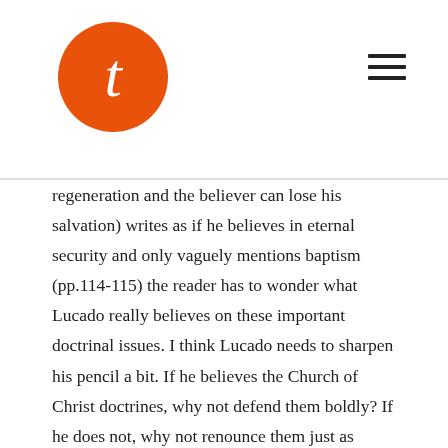T (logo)
regeneration and the believer can lose his salvation) writes as if he believes in eternal security and only vaguely mentions baptism (pp.114-115) the reader has to wonder what Lucado really believes on these important doctrinal issues. I think Lucado needs to sharpen his pencil a bit. If he believes the Church of Christ doctrines, why not defend them boldly? If he does not, why not renounce them just as boldly and leave that denomination? But that is not Max's style. As chapter 16 tells us, truth is out, unity is in. In Christian love we are to ignore our differences in theology and accept one another — even if we have to mistranslate, misinterpret and misapply Scripture to do so (e.g. Mark 9:37 pp. 164-5; Isa 49:15,16 pp. 173-174; Rom. 8:31-39 pp. 171-180). And of course, along the way is the usual